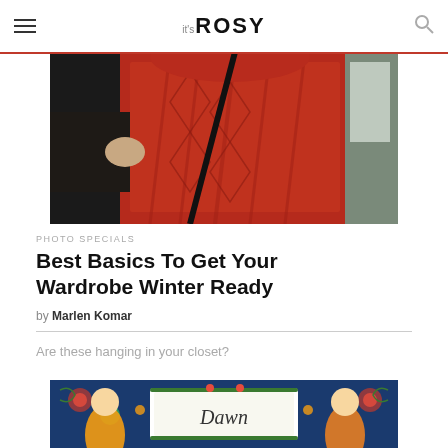it's ROSY
[Figure (photo): Person wearing a red cable-knit sweater, close-up shot outdoors]
PHOTO SPECIALS
Best Basics To Get Your Wardrobe Winter Ready
by Marlen Komar
Are these hanging in your closet?
[Figure (photo): Colorful illustrated vintage-style packaging box with the word Dawn and decorative female figures]